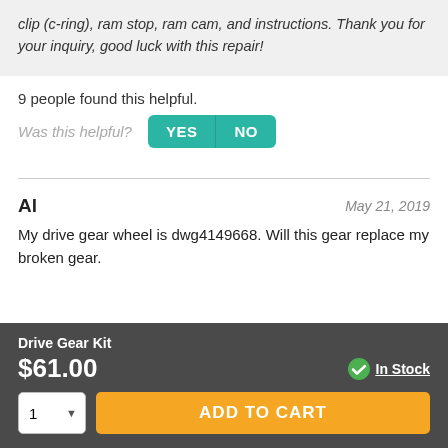clip (c-ring), ram stop, ram cam, and instructions. Thank you for your inquiry, good luck with this repair!
9 people found this helpful.
Was this helpful? YES NO
Al  May 21, 2019
My drive gear wheel is dwg4149668. Will this gear replace my broken gear.
Drive Gear Kit $61.00  In Stock  1  ADD TO CART